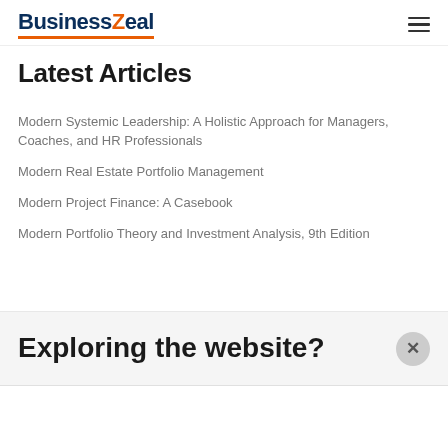BusinessZeal
Latest Articles
Modern Systemic Leadership: A Holistic Approach for Managers, Coaches, and HR Professionals
Modern Real Estate Portfolio Management
Modern Project Finance: A Casebook
Modern Portfolio Theory and Investment Analysis, 9th Edition
Exploring the website?